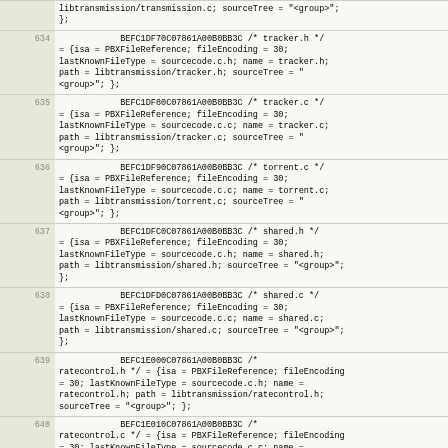libtransmission/transmission.c; sourceTree = "<group>";
};
634  BEFC1DF70C07861A00B0BB3C /* tracker.h */ = {isa = PBXFileReference; fileEncoding = 30; lastKnownFileType = sourcecode.c.h; name = tracker.h; path = libtransmission/tracker.h; sourceTree = "<group>"; };
635  BEFC1DF80C07861A00B0BB3C /* tracker.c */ = {isa = PBXFileReference; fileEncoding = 30; lastKnownFileType = sourcecode.c.c; name = tracker.c; path = libtransmission/tracker.c; sourceTree = "<group>"; };
636  BEFC1DF90C07861A00B0BB3C /* torrent.c */ = {isa = PBXFileReference; fileEncoding = 30; lastKnownFileType = sourcecode.c.c; name = torrent.c; path = libtransmission/torrent.c; sourceTree = "<group>"; };
637  BEFC1DFC0C07861A00B0BB3C /* shared.h */ = {isa = PBXFileReference; fileEncoding = 30; lastKnownFileType = sourcecode.c.h; name = shared.h; path = libtransmission/shared.h; sourceTree = "<group>"; };
638  BEFC1DFD0C07861A00B0BB3C /* shared.c */ = {isa = PBXFileReference; fileEncoding = 30; lastKnownFileType = sourcecode.c.c; name = shared.c; path = libtransmission/shared.c; sourceTree = "<group>"; };
639  BEFC1E000C07861A00B0BB3C /* ratecontrol.h */ = {isa = PBXFileReference; fileEncoding = 30; lastKnownFileType = sourcecode.c.h; name = ratecontrol.h; path = libtransmission/ratecontrol.h; sourceTree = "<group>"; };
640  BEFC1E010C07861A00B0BB3C /* ratecontrol.c */ = {isa = PBXFileReference; fileEncoding = 30; lastKnownFileType = sourcecode.c.c; name = ratecontrol.c; path = libtransmission/ratecontrol.c;